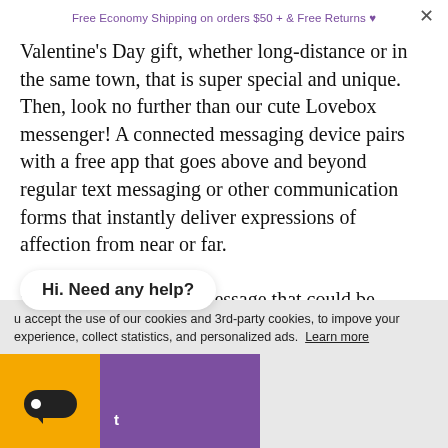Free Economy Shipping on orders $50 + & Free Returns ♥
Valentine's Day gift, whether long-distance or in the same town, that is super special and unique. Then, look no further than our cute Lovebox messenger! A connected messaging device pairs with a free app that goes above and beyond regular text messaging or other communication forms that instantly deliver expressions of affection from near or far.

Simply send a special message that could be postcards, pictures, colorful messages, stickers, drawings, and more through the free app. You can customize your messaging, schedule when you want to send the message, and set
Hi. Need any help?
u accept the use of our cookies and 3rd-party cookies, to improve your experience, collect statistics, and personalized ads. Learn more